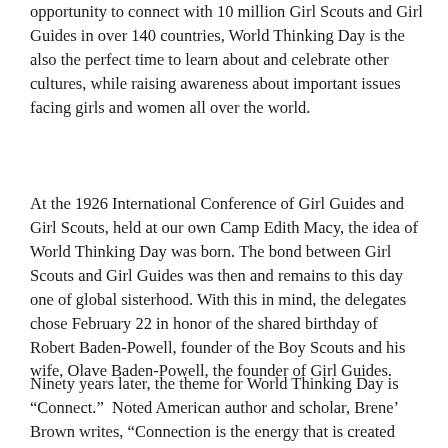opportunity to connect with 10 million Girl Scouts and Girl Guides in over 140 countries, World Thinking Day is the also the perfect time to learn about and celebrate other cultures, while raising awareness about important issues facing girls and women all over the world.
At the 1926 International Conference of Girl Guides and Girl Scouts, held at our own Camp Edith Macy, the idea of World Thinking Day was born. The bond between Girl Scouts and Girl Guides was then and remains to this day one of global sisterhood. With this in mind, the delegates chose February 22 in honor of the shared birthday of Robert Baden-Powell, founder of the Boy Scouts and his wife, Olave Baden-Powell, the founder of Girl Guides.
Ninety years later, the theme for World Thinking Day is “Connect.”  Noted American author and scholar, Brene’ Brown writes, “Connection is the energy that is created between people when they feel seen, heard, and valued.”